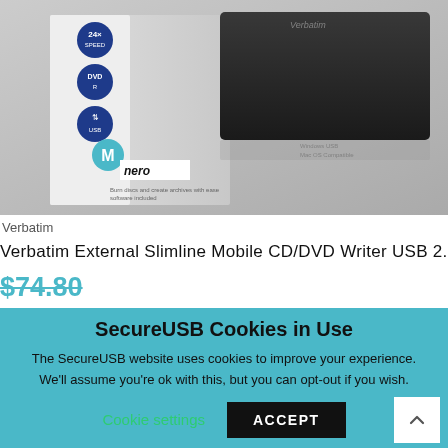[Figure (photo): Product photo of Verbatim External Slimline Mobile CD/DVD Writer USB 2.0 in Black, showing the device next to its retail box. Box has Nero branding and blue circle badges. Device is a slim black rectangular drive.]
Verbatim
Verbatim External Slimline Mobile CD/DVD Writer USB 2.0 Black
$74.80
SecureUSB Cookies in Use
The SecureUSB website uses cookies to improve your experience. We'll assume you're ok with this, but you can opt-out if you wish.
Cookie settings
ACCEPT